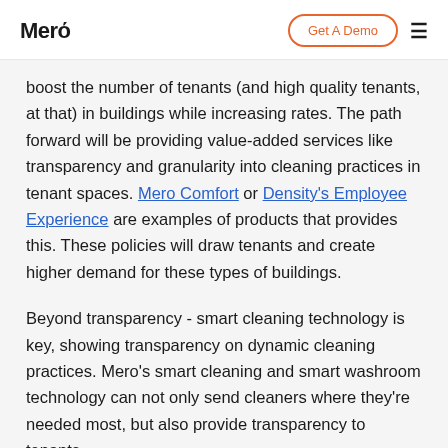Mero | Get A Demo
boost the number of tenants (and high quality tenants, at that) in buildings while increasing rates. The path forward will be providing value-added services like transparency and granularity into cleaning practices in tenant spaces. Mero Comfort or Density's Employee Experience are examples of products that provides this. These policies will draw tenants and create higher demand for these types of buildings.
Beyond transparency - smart cleaning technology is key, showing transparency on dynamic cleaning practices. Mero's smart cleaning and smart washroom technology can not only send cleaners where they're needed most, but also provide transparency to tenants